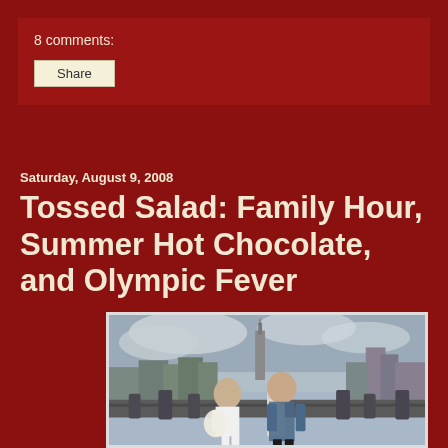8 comments:
Share
Saturday, August 9, 2008
Tossed Salad: Family Hour, Summer Hot Chocolate, and Olympic Fever
[Figure (photo): Two people (a woman in a white skirt and tank top with a white bag, and a taller man in a plaid shirt and cap) posing on a rooftop observation deck with the New York City skyline behind them, including the Empire State Building, under an overcast sky.]